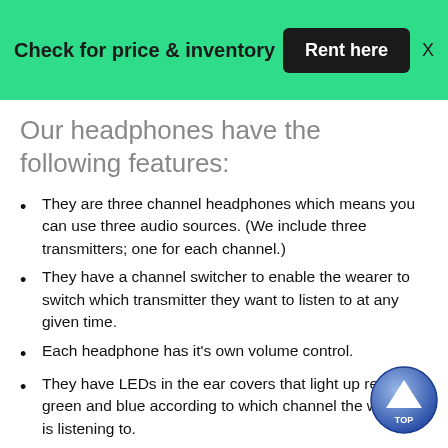Check for price & inventory   Rent here   X
Our headphones have the following features:
They are three channel headphones which means you can use three audio sources. (We include three transmitters; one for each channel.)
They have a channel switcher to enable the wearer to switch which transmitter they want to listen to at any given time.
Each headphone has it's own volume control.
They have LEDs in the ear covers that light up red, green and blue according to which channel the wearer is listening to.
They are adjustable for the size of the wearer's he…
They are tight enough to do some serious head-banging.